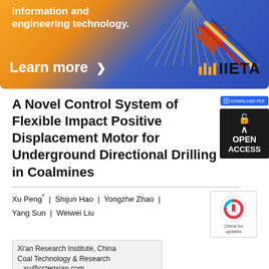[Figure (illustration): IIETA banner with orange and blue gradient background, text 'information and engineering technology.' and 'Learn more >' with IIETA logo and maple leaf decoration]
A Novel Control System of Flexible Impact Positive Displacement Motor for Underground Directional Drilling in Coalmines
Xu Peng* | Shijun Hao | Yongzhe Zhao | Yang Sun | Weiwei Liu
Xi'an Research Institute, China Coal Technology & Research ...xu@cctegxian.com